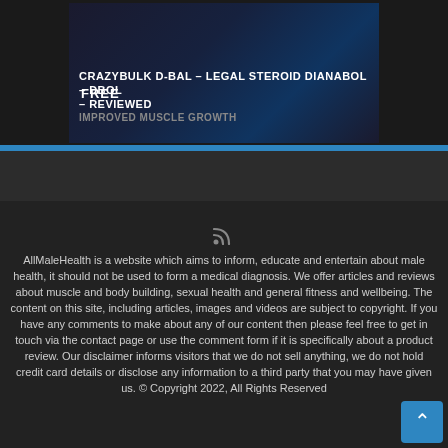[Figure (photo): Product photo banner for CrazyBulk D-BAL supplement with text overlay: 'CRAZYBULK D-BAL – LEGAL STEROID DIANABOL – DBOL – REVIEWED' and subtitle 'IMPROVED MUSCLE GROWTH', dark background with supplement containers]
AllMaleHealth is a website which aims to inform, educate and entertain about male health, it should not be used to form a medical diagnosis. We offer articles and reviews about muscle and body building, sexual health and general fitness and wellbeing. The content on this site, including articles, images and videos are subject to copyright. If you have any comments to make about any of our content then please feel free to get in touch via the contact page or use the comment form if it is specifically about a product review. Our disclaimer informs visitors that we do not sell anything, we do not hold credit card details or disclose any information to a third party that you may have given us. © Copyright 2022, All Rights Reserved